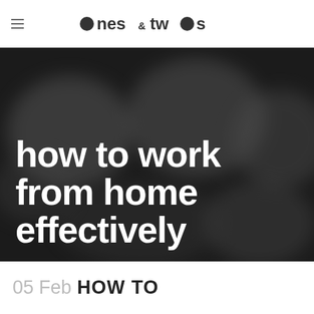ones & twos
[Figure (photo): Blurred dark grayscale background image with large white bold text overlay reading 'how to work from home effectively']
how to work from home effectively
05 Feb HOW TO